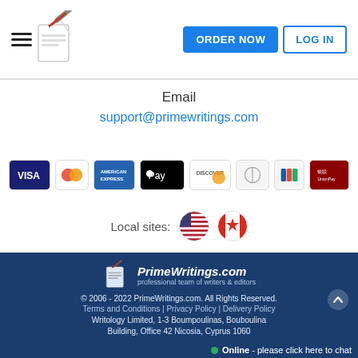Navigation bar with hamburger menu, PrimeWritings logo, ORDER NOW and LOG IN buttons
Email
support@primewritings.com
[Figure (logo): Payment method icons: Visa, Mastercard, American Express, Apple Pay, Discover, Diners Club, JCB, UnionPay]
Local sites: [US flag] [Canada flag]
PrimeWritings.com professional team of writers & editors
© 2006 - 2022 PrimeWritings.com. All Rights Reserved.
Terms and Conditions | Privacy Policy | Delivery Policy
Writology Limited, 1-3 Boumpoulinas, Bouboulina Building, Office 42 Nicosia, Cyprus 1060
Online - please click here to chat